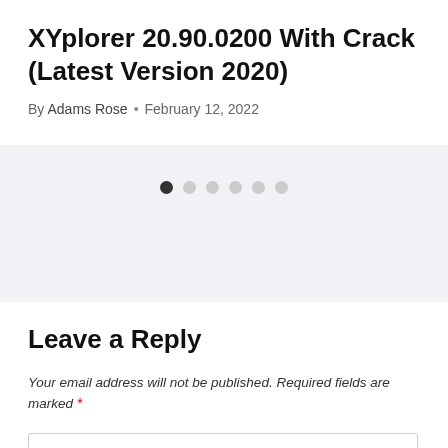XYplorer 20.90.0200 With Crack (Latest Version 2020)
By Adams Rose • February 12, 2022
[Figure (other): Carousel navigation dots: one dark filled dot followed by five light grey dots]
Leave a Reply
Your email address will not be published. Required fields are marked *